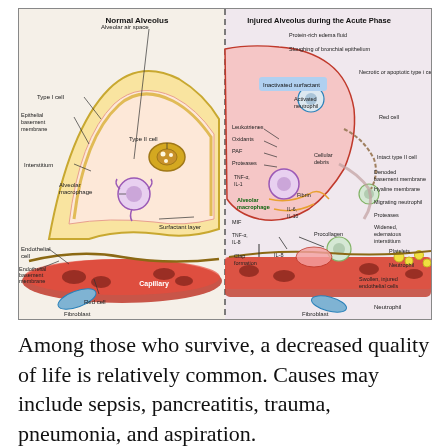[Figure (illustration): Medical illustration comparing a Normal Alveolus (left) and an Injured Alveolus during the Acute Phase (right). The normal side shows: Alveolar air space, Type I cell, Epithelial basement membrane, Interstitium, Type II cell, Alveolar macrophage, Surfactant layer, Endothelial cell, Endothelial basement membrane, Red cell, Fibroblast, Capillary. The injured side shows: Protein-rich edema fluid, Sloughing of bronchial epithelium, Necrotic or apoptotic type I cell, Inactivated surfactant, Activated neutrophil, Red cell, Leukotrienes, Oxidants, PAF, Proteases, Cellular debris, TNF-α IL-1, Alveolar macrophage, Fibrin, IL-6 IL-10, MIF, TNF-α IL-8, Procollagen, Clap formation, IL-8, Denoded basement membrane, Hyaline membrane, Migrating neutrophil, Proteases, Widened edematous interstitium, Platelets, Neutrophil, Swollen injured endothelial cells, Neutrophil, Fibroblast.]
Among those who survive, a decreased quality of life is relatively common. Causes may include sepsis, pancreatitis, trauma, pneumonia, and aspiration.